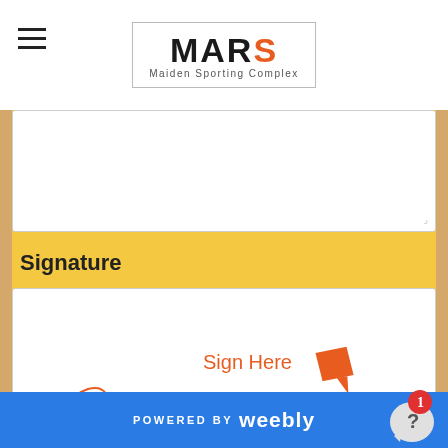MARS — Maiden Sporting Complex
[Figure (screenshot): Textarea input box (white, empty) at top of form]
Signature
[Figure (illustration): Signature input area with 'Sign Here' text and pen icon, with a decorative cursive signature line, and a Clear button below]
I have read the Terms & Conditions of Hire...
POWERED BY weebly